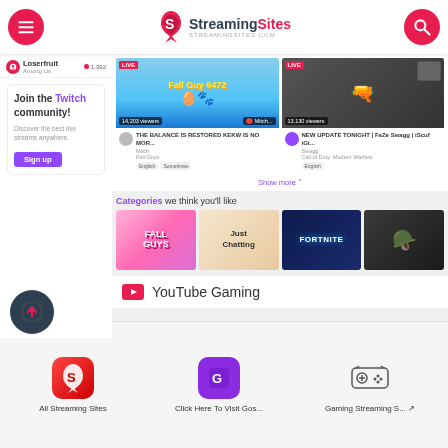StreamingSites - streamingsites.com
Loserfruit - Among Us - LIVE 1,392
Join the Twitch community! Discover the best live streams anywhere. Sign up
[Figure (screenshot): Twitch live stream thumbnail - Fall Guys game with LIVE tag and viewer count 14,203]
THE BALANCE IS RESTORED KEKW IS NO MOR... Mitch - Fall Guys - English - Sometimes
[Figure (screenshot): Twitch live stream thumbnail - Call of Duty dark scene with LIVE tag and viewer count 13,130]
NEW UPDATE TONIGHT | FaZe Swagg | iScuf iGt... Swagg - Call of Duty: Modern Warfare - English
Show more
Categories we think you'll like
[Figure (screenshot): Category thumbnails: Fall Guys, Just Chatting, Fortnite, Call of Duty game category images]
YouTube Gaming
[Figure (logo): Scroll up arrow button]
All Streaming Sites | Click Here To Visit Gos... | Gaming Streaming S...